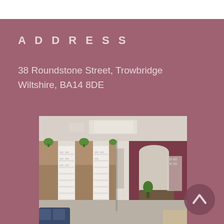ADDRESS
38 Roundstone Street, Trowbridge
Wiltshire, BA14 8DE
[Figure (photo): Interior of an optician/eyewear retail store showing display shelving units with glasses, wooden panel walls with small topiary plants, a reception desk, and an arched doorway leading to a back room. Blue seating visible in foreground left.]
[Figure (other): Circular scroll-to-top button arrow icon in dark mauve/brown]